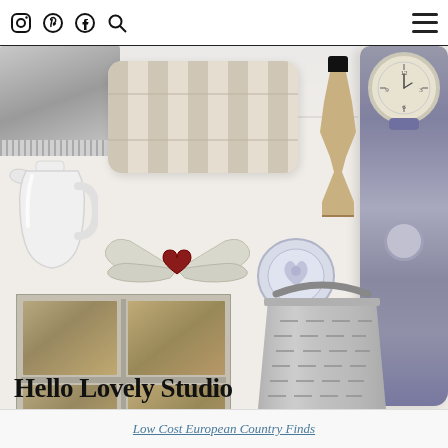Hello Lovely Studio – navigation icons: Instagram, Pinterest, Facebook, Search, Menu
[Figure (photo): Collage of European country home decor items: gray fringe throw, striped lumbar pillow, wooden lamp base, Mora grandfather clock in gray, white ceramic pitcher, metal angel wings with heart, blue transferware plate, gray wood cubby bookcase, galvanized olive bucket. Text overlay reads 'Hello Lovely Studio'.]
Low Cost European Country Finds